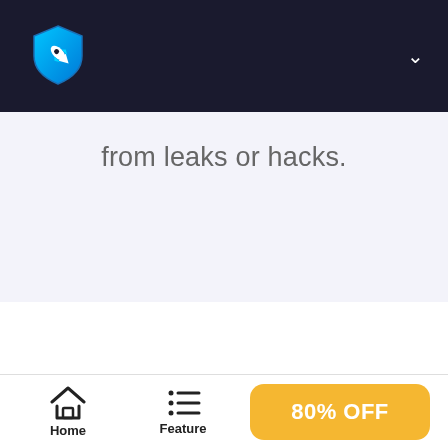[Figure (logo): Shield logo with rocket icon in blue/cyan gradient on dark navy navigation bar, with chevron down arrow on the right]
from leaks or hacks.
[Figure (illustration): Bottom navigation bar with Home icon, Feature icon (list), and 80% OFF yellow button]